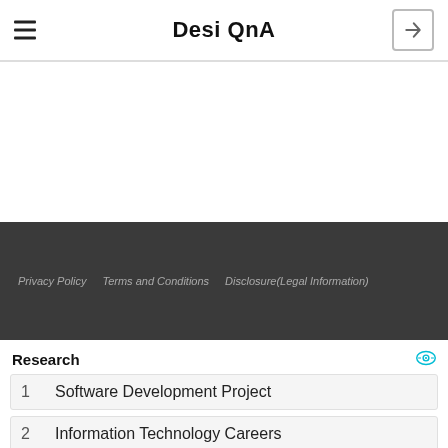Desi QnA
Privacy Policy   Terms and Conditions   Disclosure(Legal Information)
Research
1   Software Development Project
2   Information Technology Careers
Yahoo! Search | Sponsored